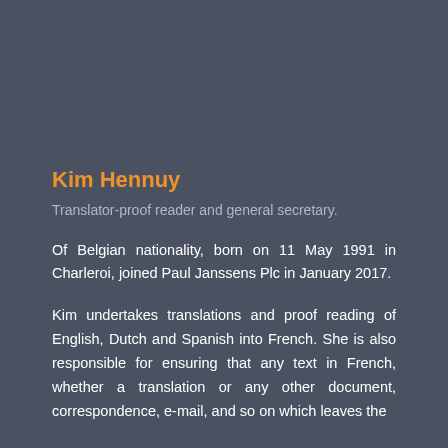Kim Hennuy
Translator-proof reader and general secretary.
Of Belgian nationality, born on 11 May 1991 in Charleroi, joined Paul Janssens Plc in January 2017.
Kim undertakes translations and proof reading of English, Dutch and Spanish into French. She is also responsible for ensuring that any text in French, whether a translation or any other document, correspondence, e-mail, and so on which leaves the